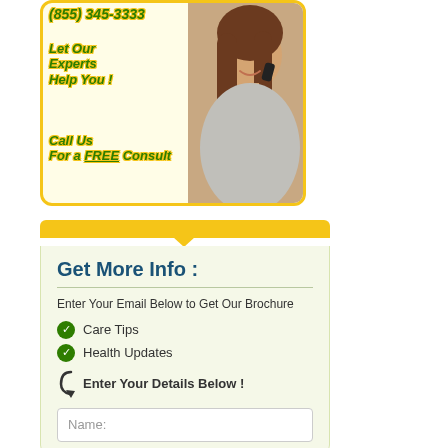[Figure (photo): Promotional banner with a smiling woman talking on a phone, green italic bold text reading '(855) 345-3333', 'Let Our Experts Help You !', 'Call Us For a FREE Consult', on a light yellow background with orange border.]
Get More Info :
Enter Your Email Below to Get Our Brochure
Care Tips
Health Updates
Enter Your Details Below !
Name: